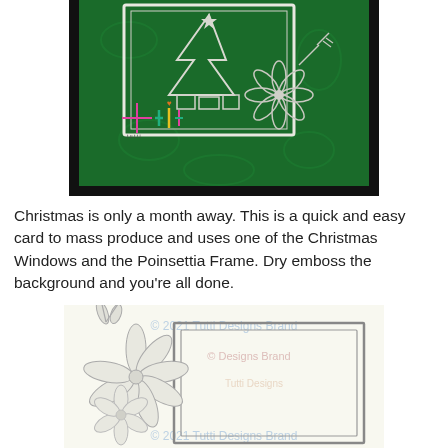[Figure (photo): Photo of a green embossed card with a white glitter Christmas window scene featuring a Christmas tree, gifts, and a Poinsettia Frame decoration. Colorful logo watermark visible in lower left of photo.]
Christmas is only a month away. This is a quick and easy card to mass produce and uses one of the Christmas Windows and the Poinsettia Frame. Dry emboss the background and you're all done.
[Figure (photo): Product image of the Poinsettia Frame die cut — a rectangular frame with detailed poinsettia flowers in the lower-left corner. Multiple '© 2021 Tutti Designs Brand' watermarks overlaid in light blue/pink text.]